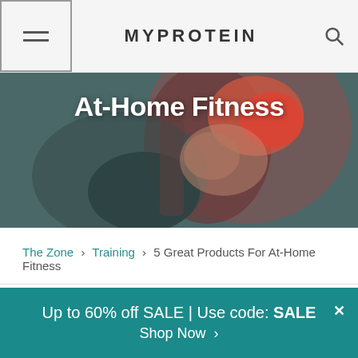MYPROTEIN
[Figure (photo): Hero image showing a hand gripping a red dumbbell, with blurred background. Text overlay reads 'At-Home Fitness']
At-Home Fitness
The Zone > Training > 5 Great Products For At-Home Fitness
Evangeline Howarth
Editor / 2 years ago
Up to 60% off SALE | Use code: SALE
Shop Now >